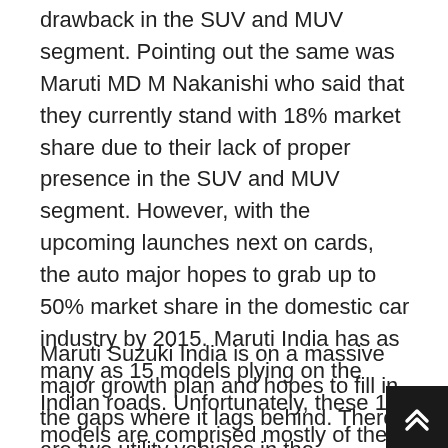drawback in the SUV and MUV segment. Pointing out the same was Maruti MD M Nakanishi who said that they currently stand with 18% market share due to their lack of proper presence in the SUV and MUV segment. However, with the upcoming launches next on cards, the auto major hopes to grab up to 50% market share in the domestic car industry by 2015. Maruti India has as many as 15 models plying on the Indian roads. Unfortunately, these 15 models are comprised mostly of the compact cars that include sedans and hatchbacks.
Maruti Suzuki India is on a massive major growth plan and hopes to fill in the gaps where it lags behind. There are two utility vehicles in the segment, out of which the outdated Maruti Gypsy is one. Maruti Grand Vitara that sits in the premium segment has lost out on its sales to the newer crop of utility vehicles in competition. However, a new MPV Maru...